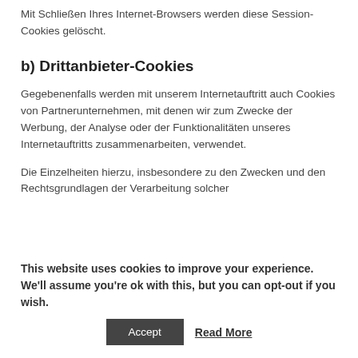Mit Schließen Ihres Internet-Browsers werden diese Session-Cookies gelöscht.
b) Drittanbieter-Cookies
Gegebenenfalls werden mit unserem Internetauftritt auch Cookies von Partnerunternehmen, mit denen wir zum Zwecke der Werbung, der Analyse oder der Funktionalitäten unseres Internetauftritts zusammenarbeiten, verwendet.
Die Einzelheiten hierzu, insbesondere zu den Zwecken und den Rechtsgrundlagen der Verarbeitung solcher
This website uses cookies to improve your experience. We'll assume you're ok with this, but you can opt-out if you wish.
Accept   Read More